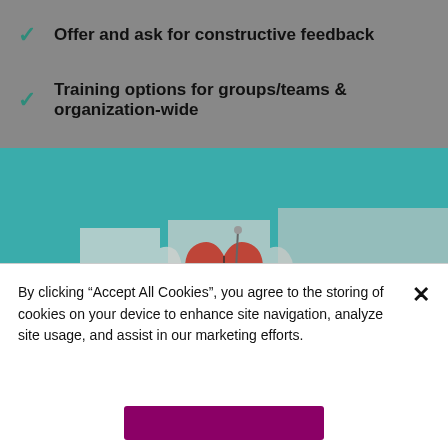Offer and ask for constructive feedback
Training options for groups/teams & organization-wide
[Figure (photo): Two white puzzle pieces on a teal background with a red heart-shaped puzzle piece in the center, symbolizing connection and care.]
By clicking “Accept All Cookies”, you agree to the storing of cookies on your device to enhance site navigation, analyze site usage, and assist in our marketing efforts.